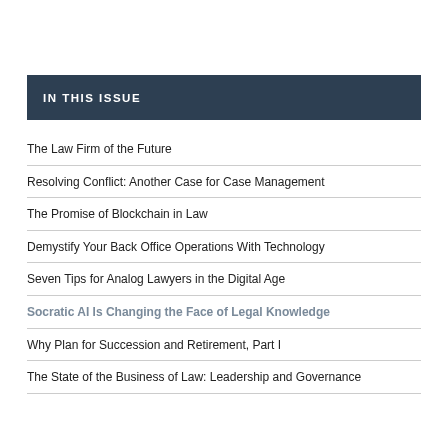IN THIS ISSUE
The Law Firm of the Future
Resolving Conflict: Another Case for Case Management
The Promise of Blockchain in Law
Demystify Your Back Office Operations With Technology
Seven Tips for Analog Lawyers in the Digital Age
Socratic AI Is Changing the Face of Legal Knowledge
Why Plan for Succession and Retirement, Part I
The State of the Business of Law: Leadership and Governance